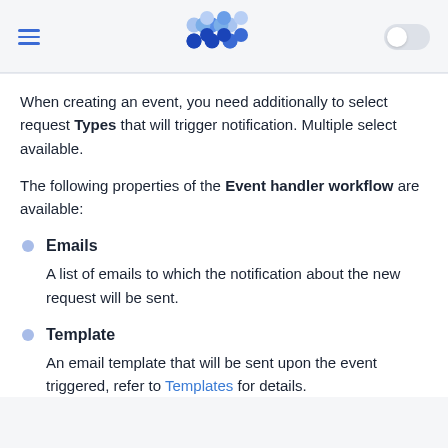[hamburger menu] [logo] [toggle]
When creating an event, you need additionally to select request Types that will trigger notification. Multiple select available.
The following properties of the Event handler workflow are available:
Emails — A list of emails to which the notification about the new request will be sent.
Template — An email template that will be sent upon the event triggered, refer to Templates for details.